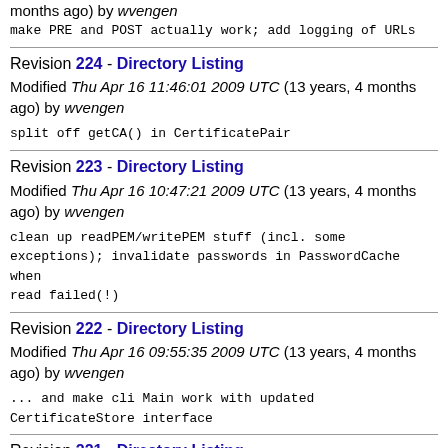months ago) by wvengen
make PRE and POST actually work; add logging of URLs
Revision 224 - Directory Listing
Modified Thu Apr 16 11:46:01 2009 UTC (13 years, 4 months ago) by wvengen
split off getCA() in CertificatePair
Revision 223 - Directory Listing
Modified Thu Apr 16 10:47:21 2009 UTC (13 years, 4 months ago) by wvengen
clean up readPEM/writePEM stuff (incl. some exceptions); invalidate passwords in PasswordCache when read failed(!)
Revision 222 - Directory Listing
Modified Thu Apr 16 09:55:35 2009 UTC (13 years, 4 months ago) by wvengen
... and make cli Main work with updated CertificateStore interface
Revision 221 - Directory Listing
Modified Thu Apr 16 09:54:16 2009 UTC (13 years, 4